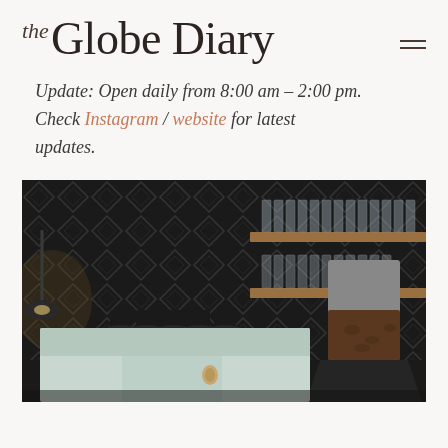the Globe Diary
Update: Open daily from 8:00 am – 2:00 pm. Check Instagram / website for latest updates.
[Figure (photo): Interior photo of a stylish café showing a mint/sage green espresso machine on a counter, with a geometric diamond-patterned dark tile backsplash, shelves with glassware and coffee grinder with beans on the right side.]